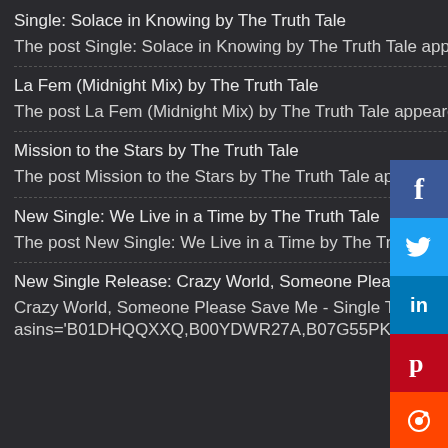Single: Solace in Knowing by The Truth Tale
The post Single: Solace in Knowing by The Truth Tale appeared first on Somicom Multimedia.
La Fem (Midnight Mix) by The Truth Tale
The post La Fem (Midnight Mix) by The Truth Tale appeared first on Somicom Multimedia.
Mission to the Stars by The Truth Tale
The post Mission to the Stars by The Truth Tale appeared first on Somicom Multimedia.
New Single: We Live in a Time by The Truth Tale
The post New Single: We Live in a Time by The Truth Tale appeared first on Somicom Multimedia.
New Single Release: Crazy World, Someone Please Save Me by The Truth Tale
Crazy World, Someone Please Save Me - Single The Truth Tale [amazon_link asins='B01DHQQXXQ,B00YDWR27A,B07G55PKCY,B00U5O426Y,B079FT1J3L,B07DPVR34P,B00NJVS39W,B078S7PFMJ,B07BW1XJGP,B002RG